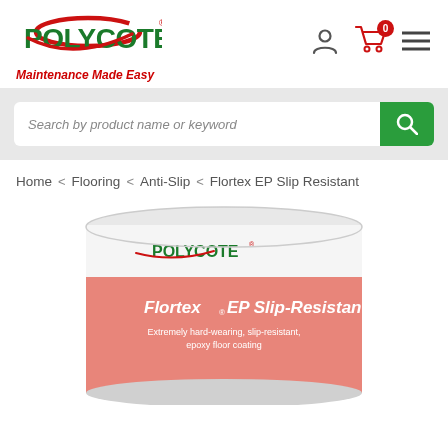[Figure (logo): Polycote logo with red swirl and green bold text, tagline 'Maintenance Made Easy' in red italic]
[Figure (screenshot): Navigation icons: user profile icon, shopping cart with 0 badge, hamburger menu]
[Figure (screenshot): Search bar with placeholder 'Search by product name or keyword' and green search button]
Home  <  Flooring  <  Anti-Slip  <  Flortex EP Slip Resistant
[Figure (photo): Product tin of Polycote Flortex EP Slip-Resistant floor coating with pink/salmon label showing product name and tagline 'Extremely hard-wearing, slip-resistant, epoxy floor coating']